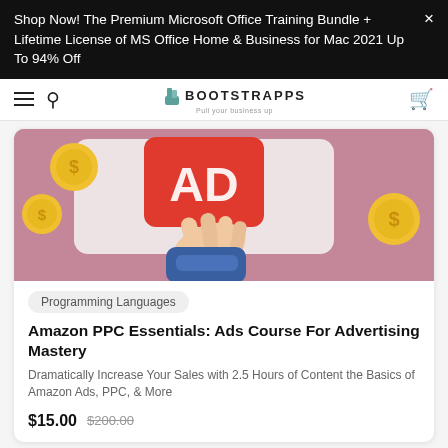Shop Now! The Premium Microsoft Office Training Bundle + Lifetime License of MS Office Home & Business for Mac 2021 Up To 94% Off
[Figure (logo): Bootstrapps logo with boot icon and tagline 'Pull your business up']
[Figure (illustration): 3D illustration of a hand pointing at a red AD button with gold coins, on a pink/mauve background]
Programming Languages
Amazon PPC Essentials: Ads Course For Advertising Mastery
Dramatically Increase Your Sales with 2.5 Hours of Content the Basics of Amazon Ads, PPC, & More
$15.00  $200.00